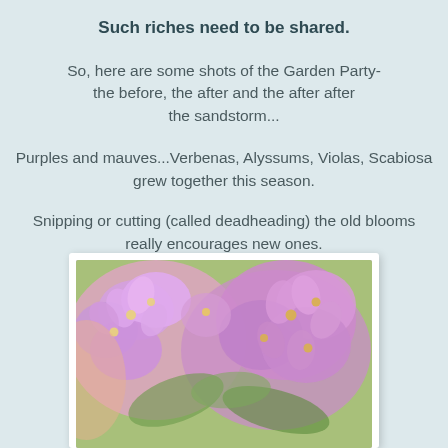Such riches need to be shared.
So, here are some shots of the Garden Party- the before, the after and the after after the sandstorm...
Purples and mauves...Verbenas, Alyssums, Violas, Scabiosa grew together this season.
Snipping or cutting (called deadheading) the old blooms really encourages new ones. So don't be shy- snip away.
[Figure (photo): Close-up photograph of purple and pink flowers (Verbenas or similar garden flowers) clustered together with green foliage visible in the background.]